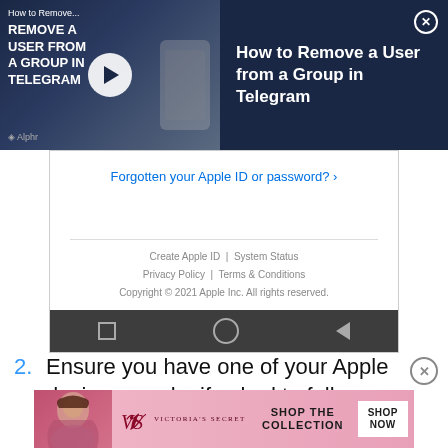[Figure (screenshot): Video thumbnail advertisement for 'How to Remove a User from a Group in Telegram' with dark navy background, play button, and Alphr logo on left; title text on right with close button]
[Figure (screenshot): Apple ID login page screenshot showing 'Forgotten your Apple ID or password?' link, Create Apple ID, System Status, Privacy Policy, Terms & Conditions, Copyright 2021 Apple Inc., and Android navigation bar]
2. Ensure you have one of your Apple devices nearby if asked to follow through with the
[Figure (screenshot): Victoria's Secret advertisement banner with pink background, VS logo, 'SHOP THE COLLECTION' text, and 'SHOP NOW' button]